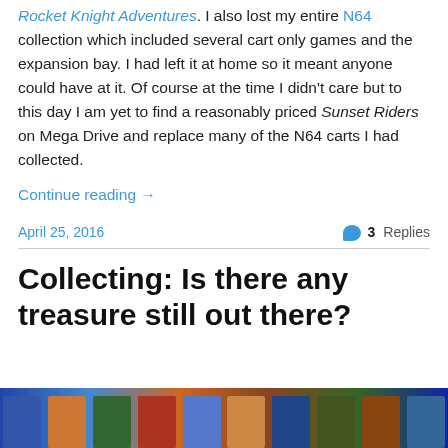Rocket Knight Adventures. I also lost my entire N64 collection which included several cart only games and the expansion bay. I had left it at home so it meant anyone could have at it. Of course at the time I didn't care but to this day I am yet to find a reasonably priced Sunset Riders on Mega Drive and replace many of the N64 carts I had collected.
Continue reading →
April 25, 2016
3 Replies
Collecting: Is there any treasure still out there?
[Figure (photo): Thumbnail image of video game collection]